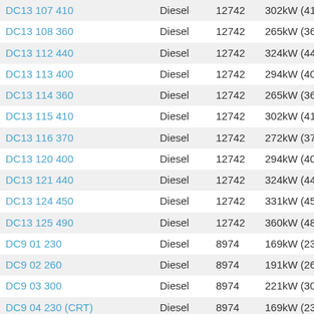| Model | Fuel | Displacement | Power |
| --- | --- | --- | --- |
| DC13 107 410 | Diesel | 12742 | 302kW (411K |
| DC13 108 360 | Diesel | 12742 | 265kW (360K |
| DC13 112 440 | Diesel | 12742 | 324kW (441K |
| DC13 113 400 | Diesel | 12742 | 294kW (400K |
| DC13 114 360 | Diesel | 12742 | 265kW (360K |
| DC13 115 410 | Diesel | 12742 | 302kW (411K |
| DC13 116 370 | Diesel | 12742 | 272kW (370K |
| DC13 120 400 | Diesel | 12742 | 294kW (400K |
| DC13 121 440 | Diesel | 12742 | 324kW (441K |
| DC13 124 450 | Diesel | 12742 | 331kW (450K |
| DC13 125 490 | Diesel | 12742 | 360kW (489K |
| DC9 01 230 | Diesel | 8974 | 169kW (230K |
| DC9 02 260 | Diesel | 8974 | 191kW (260K |
| DC9 03 300 | Diesel | 8974 | 221kW (300K |
| DC9 04 230 (CRT) | Diesel | 8974 | 169kW (230K |
| DC9 05 260 (CRT) | Diesel | 8974 | 191kW (260K |
| DC9 06 300 (CRT) | Diesel | 8974 | 221kW (300K |
| DC9 16 230 | Diesel | 8867 | 169kW (230K |
| DC9 17 270 | Diesel | 8867 | 198kW (269K |
| DC9 18 310 | Diesel | 8867 | 228kW (310K |
| DC9 21 310 | Diesel | 8867 | 228kW (310K |
| DC9 22 260 | Diesel | 8867 | ...kW (260K |